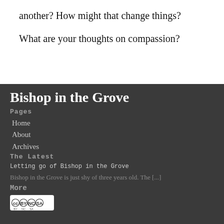another? How might that change things?
What are your thoughts on compassion?
Bishop in the Grove
Pages
Home
About
Archives
The Latest
Letting go of Bishop in the Grove
Bishop in the Grove is just shy of three years old. The [...]
More
[Figure (logo): Creative Commons BY NC SA license badge]